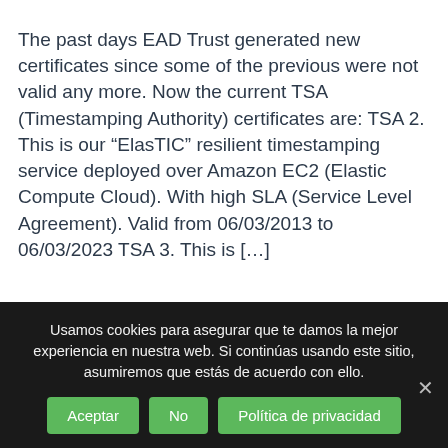The past days EAD Trust generated new certificates since some of the previous were not valid any more. Now the current TSA (Timestamping Authority) certificates are: TSA 2. This is our “ElasTIC” resilient timestamping service deployed over Amazon EC2 (Elastic Compute Cloud). With high SLA (Service Level Agreement). Valid from 06/03/2013 to 06/03/2023 TSA 3. This is […]
Search …
Usamos cookies para asegurar que te damos la mejor experiencia en nuestra web. Si continúas usando este sitio, asumiremos que estás de acuerdo con ello.
Aceptar
No
Política de privacidad